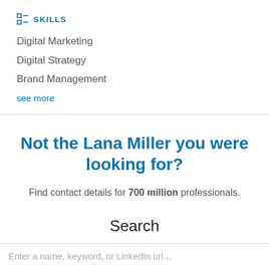SKILLS
Digital Marketing
Digital Strategy
Brand Management
see more
Not the Lana Miller you were looking for?
Find contact details for 700 million professionals.
Search
Enter a name, keyword, or LinkedIn url...